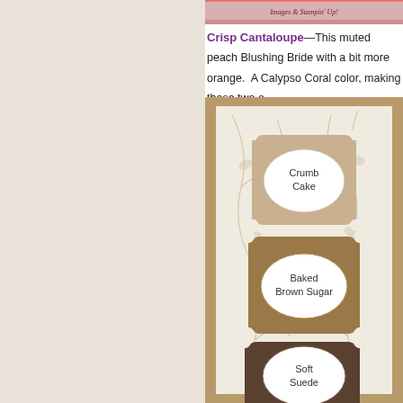[Figure (photo): Top portion of a craft/stamping image showing a pink card with 'Images & Stampin Up!' text, partially visible at the top right of the page.]
Crisp Cantaloupe—This muted peach Blushing Bride with a bit more orange. A Calypso Coral color, making those two a
[Figure (photo): A tall narrow handmade card with a cream background featuring brown floral vine embossing. Three decorative label-shaped pieces of cardstock are stacked vertically: top one is light tan (Crumb Cake) with a white oval label reading 'Crumb Cake', middle one is medium brown (Baked Brown Sugar) with a white oval label reading 'Baked Brown Sugar', and the bottom one is dark brown (Soft Suede) with a white oval label reading 'Soft Suede'. The card is matted on a tan/kraft background.]